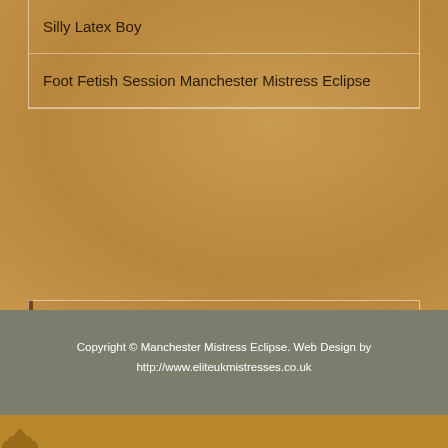Silly Latex Boy
Foot Fetish Session Manchester Mistress Eclipse
Twitter
Tweets by @MistressEeclips
Copyright © Manchester Mistress Eclipse. Web Design by http://www.eliteukmistresses.co.uk